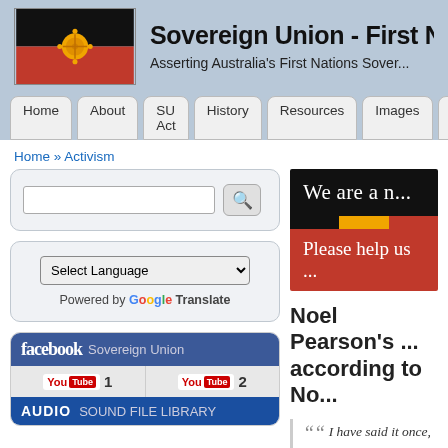[Figure (screenshot): Sovereign Union website screenshot showing logo with Aboriginal flag, site title, navigation bar, breadcrumb, search box, Google Translate widget, social media links, banner image, and article title beginning with Noel Pearson's...]
Sovereign Union - First Nations ...
Asserting Australia's First Nations Sover...
Home
About
SU Act
History
Resources
Images
Do...
Home » Activism
Select Language
Powered by Google Translate
facebook Sovereign Union
You Tube 1   You Tube 2
AUDIO SOUND FILE LIBRARY
We are a n...
Please help us ...
Noel Pearson's ... according to No...
““ I have said it once, I h...